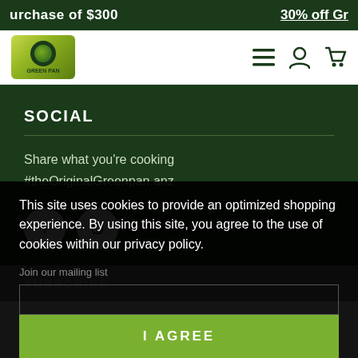purchase of $300   30% off Gre
[Figure (logo): GreenPan logo with circular emblem on gold-green gradient background, navigation icons for menu, user account, and cart]
SOCIAL
Share what you're cooking
#theOriginalGreenpan.anz
[Figure (illustration): Facebook icon (white F on white circle) and Instagram icon (white camera on white circle) social media buttons]
SUBSCRIBE
This site uses cookies to provide an optimized shopping experience. By using this site, you agree to the use of cookies within our privacy policy.
Join our mailing list
I AGREE